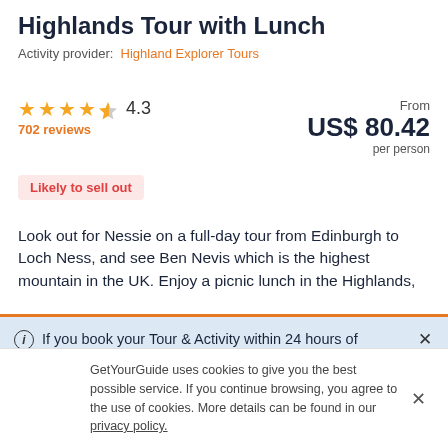Highlands Tour with Lunch
Activity provider: Highland Explorer Tours
4.3
702 reviews
From US$ 80.42 per person
Likely to sell out
Look out for Nessie on a full-day tour from Edinburgh to Loch Ness, and see Ben Nevis which is the highest mountain in the UK. Enjoy a picnic lunch in the Highlands,
If you book your Tour & Activity within 24 hours of booking your easyJet flight you will purchase what is known as a Linked Travel Arrangement. This means
GetYourGuide uses cookies to give you the best possible service. If you continue browsing, you agree to the use of cookies. More details can be found in our privacy policy.